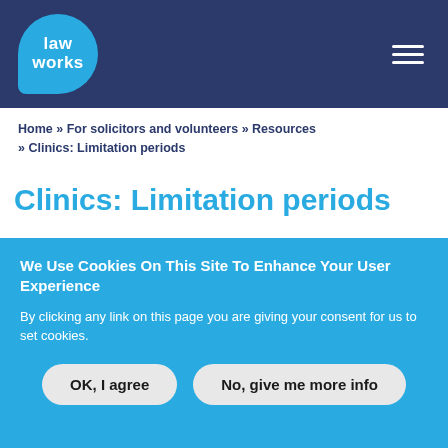LawWorks
Home » For solicitors and volunteers » Resources » Clinics: Limitation periods
Clinics: Limitation periods
When providing advice it is important to ensure that clients are appraised of all relevant limitation dates pertaining to their
We Use Cookies On This Site To Enhance Your User Experience
By clicking any link on this page you are giving your consent for us to set cookies.
OK, I agree | No, give me more info